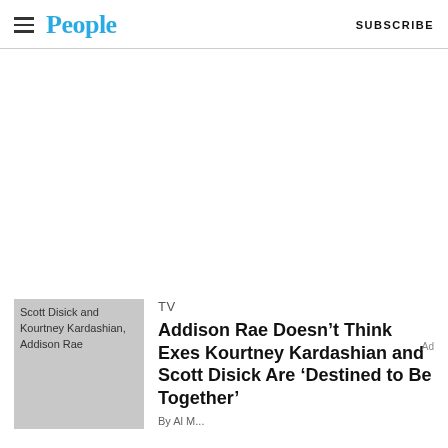People  SUBSCRIBE
[Figure (other): Advertisement/blank white space area]
[Figure (photo): Scott Disick and Kourtney Kardashian, Addison Rae]
TV
Addison Rae Doesn’t Think Exes Kourtney Kardashian and Scott Disick Are ‘Destined to Be Together’
By [Author name]